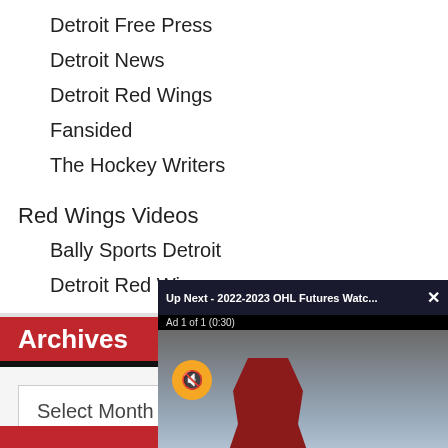Detroit Free Press
Detroit News
Detroit Red Wings
Fansided
The Hockey Writers
Red Wings Videos
Bally Sports Detroit
Detroit Red Wings
Archives
Select Month
[Figure (screenshot): Video overlay showing 'Up Next - 2022-2023 OHL Futures Watc...' with Ad 1 of 1 (0:30) label, a muted icon, and a hockey player on ice in red uniform]